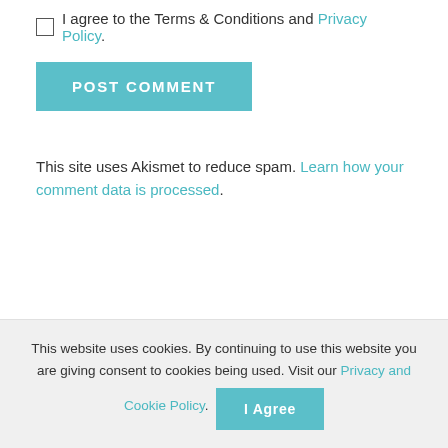I agree to the Terms & Conditions and Privacy Policy.
POST COMMENT
This site uses Akismet to reduce spam. Learn how your comment data is processed.
This website uses cookies. By continuing to use this website you are giving consent to cookies being used. Visit our Privacy and Cookie Policy.